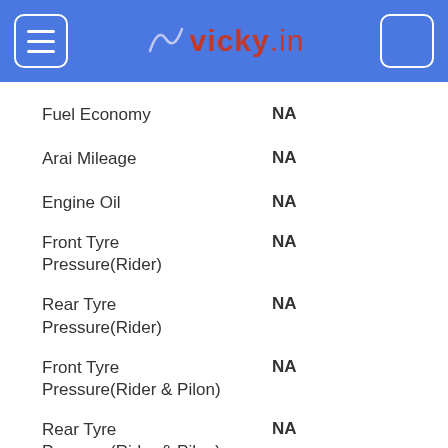vicky.in
| Specification | Value |
| --- | --- |
| Fuel Economy | NA |
| Arai Mileage | NA |
| Engine Oil | NA |
| Front Tyre Pressure(Rider) | NA |
| Rear Tyre Pressure(Rider) | NA |
| Front Tyre Pressure(Rider & Pilon) | NA |
| Rear Tyre Pressure(Rider & Pilon) | NA |